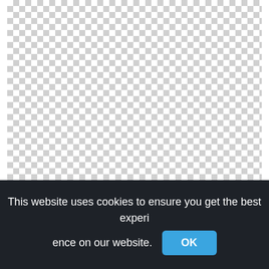[Figure (other): Checkerboard transparency pattern indicating a PNG image with transparent background — Beach Rose Watercolor Painting]
Beach Rose Watercolor Painting Drawing, Watercolor Painting,watercolor brush strokes png
This website uses cookies to ensure you get the best experience on our website. OK